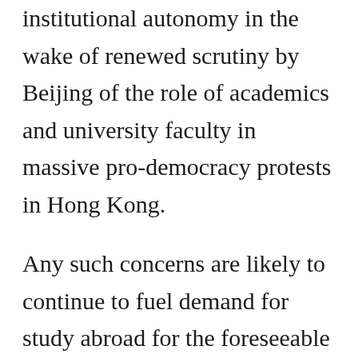institutional autonomy in the wake of renewed scrutiny by Beijing of the role of academics and university faculty in massive pro-democracy protests in Hong Kong.
Any such concerns are likely to continue to fuel demand for study abroad for the foreseeable future, as will the recent education reforms